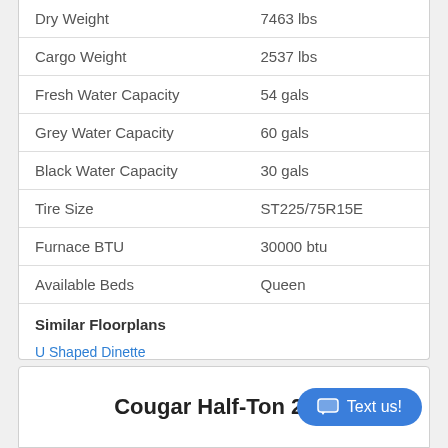| Specification | Value |
| --- | --- |
| Dry Weight | 7463 lbs |
| Cargo Weight | 2537 lbs |
| Fresh Water Capacity | 54 gals |
| Grey Water Capacity | 60 gals |
| Black Water Capacity | 30 gals |
| Tire Size | ST225/75R15E |
| Furnace BTU | 30000 btu |
| Available Beds | Queen |
Similar Floorplans
U Shaped Dinette
Front Bedroom
Cougar Half-Ton 23M